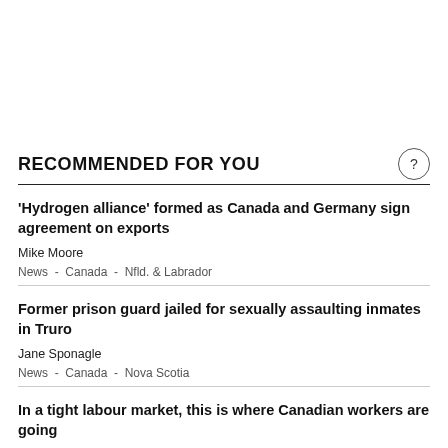RECOMMENDED FOR YOU
'Hydrogen alliance' formed as Canada and Germany sign agreement on exports
Mike Moore
News  -  Canada  -  Nfld. & Labrador
Former prison guard jailed for sexually assaulting inmates in Truro
Jane Sponagle
News  -  Canada  -  Nova Scotia
In a tight labour market, this is where Canadian workers are going